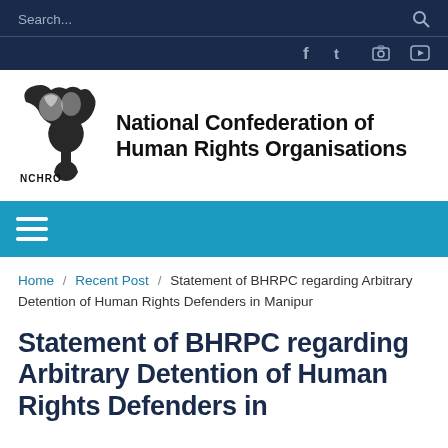Search...
[Figure (logo): NCHRO logo with stylized figure and text 'NCHRO']
National Confederation of Human Rights Organisations
Home / Recent Post / Statement of BHRPC regarding Arbitrary Detention of Human Rights Defenders in Manipur
Statement of BHRPC regarding Arbitrary Detention of Human Rights Defenders in